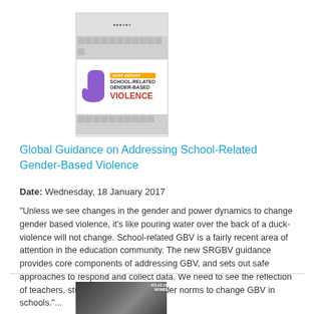[Figure (illustration): Book cover for 'School-Related Gender-Based Violence' featuring a purple hand silhouette, icon grid, and red text reading VIOLENCE]
Global Guidance on Addressing School-Related Gender-Based Violence
Date: Wednesday, 18 January 2017
"Unless we see changes in the gender and power dynamics to change gender based violence, it's like pouring water over the back of a duck- violence will not change. School-related GBV is a fairly recent area of attention in the education community. The new SRGBV guidance provides core components of addressing GBV, and sets out safe approaches to respond and collect data. We need to see the reflection of teachers, students, parents on gender norms to change GBV in schools."...
[Figure (photo): Black and white photo with text overlay reading 'ATLAS OF WOMEN' showing people in an outdoor scene]